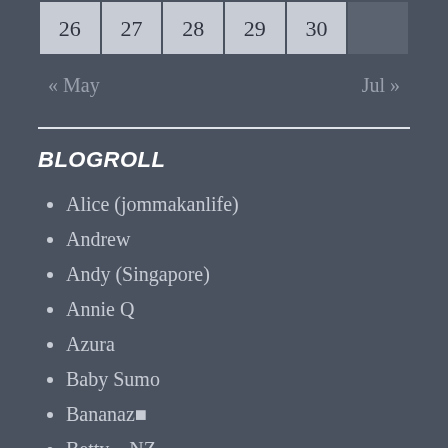| 26 | 27 | 28 | 29 | 30 |  |
« May    Jul »
BLOGROLL
Alice (jommakanlife)
Andrew
Andy (Singapore)
Annie Q
Azura
Baby Sumo
Bananaz 
Betty – NZ